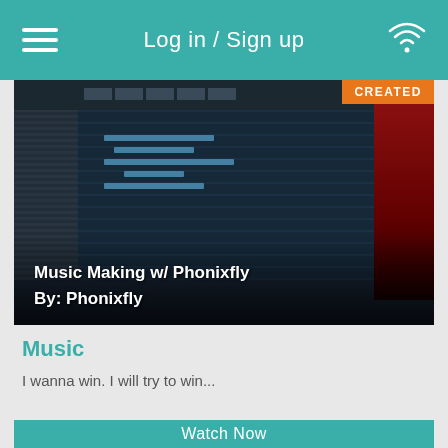Log in / Sign up
[Figure (screenshot): Screenshot of a digital audio workstation (DAW) software with piano roll editor, showing MIDI notes. An anime character appears on the right side. Text overlay reads: Music Making w/ Phonixfly / By: Phonixfly. An orange 'CREATED' badge is in the top-right corner.]
Music
I wanna win. I will try to win...
about 5 years ago
Total Views: 5
Watch Now